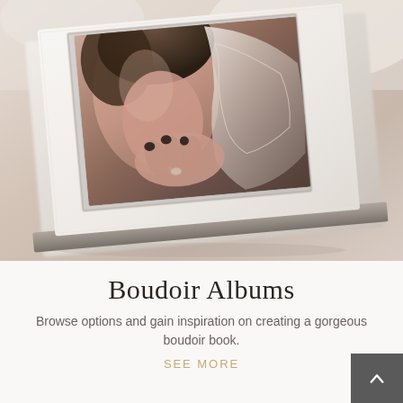[Figure (photo): A white leather photo album laid at an angle, featuring an embedded photo of a woman in a lace wedding dress or boudoir attire, holding lace fabric with dark-painted fingernails. The album has a textured white cover with a recessed photo window. Background is soft and light-colored, possibly fur or fabric.]
Boudoir Albums
Browse options and gain inspiration on creating a gorgeous boudoir book.
SEE MORE